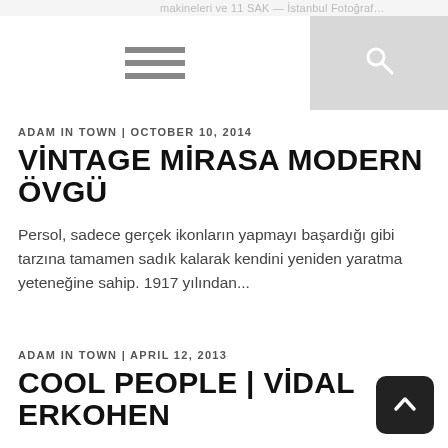makineleri ve 11 SAK — İstanbul Fotoğraf…
ADAM IN TOWN | OCTOBER 10, 2014
VİNTAGE MİRASA MODERN ÖVGÜ
Persol, sadece gerçek ikonların yapmayı başardığı gibi tarzına tamamen sadık kalarak kendini yeniden yaratma yeteneğine sahip. 1917 yılından...
ADAM IN TOWN | APRIL 12, 2013
COOL PEOPLE | VİDAL ERKOHEN
Kimsin ve ne iş yapıyorsun? Adım Vidal Erkohen ve 2005 yılından beri kendi gözluk markalarımız RVS ve Point...